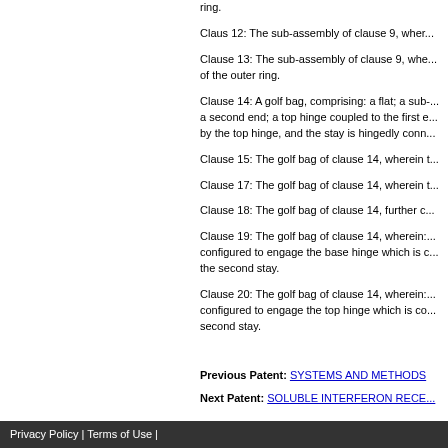ring.
Claus 12: The sub-assembly of clause 9, wher...
Clause 13: The sub-assembly of clause 9, whe... of the outer ring.
Clause 14: A golf bag, comprising: a flat; a sub-... a second end; a top hinge coupled to the first e... by the top hinge, and the stay is hingedly conn...
Clause 15: The golf bag of clause 14, wherein t...
Clause 17: The golf bag of clause 14, wherein t...
Clause 18: The golf bag of clause 14, further c...
Clause 19: The golf bag of clause 14, wherein:... configured to engage the base hinge which is c... the second stay.
Clause 20: The golf bag of clause 14, wherein:... configured to engage the top hinge which is co... second stay.
Previous Patent: SYSTEMS AND METHODS
Next Patent: SOLUBLE INTERFERON RECE...
Privacy Policy | Terms of Use |